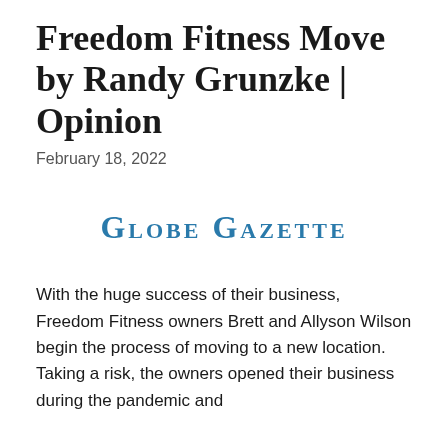Freedom Fitness Move by Randy Grunzke | Opinion
February 18, 2022
[Figure (logo): Globe Gazette newspaper logo in blue small-caps serif font]
With the huge success of their business, Freedom Fitness owners Brett and Allyson Wilson begin the process of moving to a new location. Taking a risk, the owners opened their business during the pandemic and